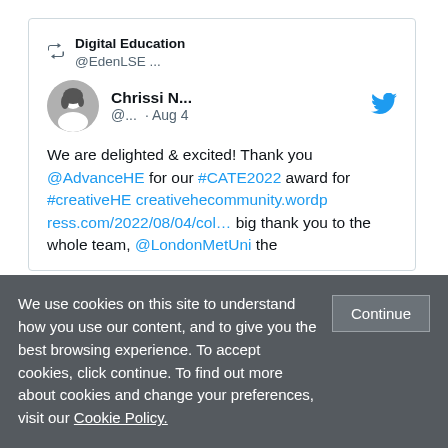[Figure (screenshot): Tweet card showing a retweet from Digital Education @EdenLSE with user Chrissi N... (@...) dated Aug 4. Tweet text: 'We are delighted & excited! Thank you @AdvanceHE for our #CATE2022 award for #creativeHE creativehecommunity.wordpress.com/2022/08/04/col... big thank you to the whole team, @LondonMetUni the']
We use cookies on this site to understand how you use our content, and to give you the best browsing experience. To accept cookies, click continue. To find out more about cookies and change your preferences, visit our Cookie Policy.